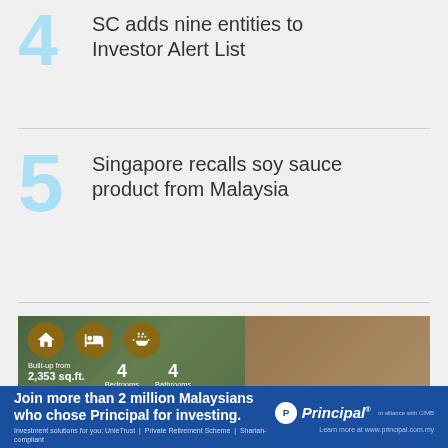4 SC adds nine entities to Investor Alert List
5 Singapore recalls soy sauce product from Malaysia
[Figure (photo): Property advertisement showing a luxury home with icons: Built-up from 2,353 sq.ft., 4 Bedrooms, 4 Bathrooms]
[Figure (infographic): Principal investment banner: Join more than 2 million Malaysians who chose Principal for investing. Investment solutions for you: UnieTrust | Private Retirement Scheme | Shariah-compliant. Learn more at www.principal.com.my]